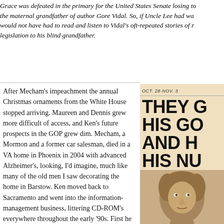Grace was defeated in the primary for the United States Senate losing to the maternal grandfather of author Gore Vidal. So, if Uncle Lee had would not have had to read and listen to Vidal's oft-repeated stories of legislation to his blind grandfather.
After Mecham's impeachment the annual Christmas ornaments from the White House stopped arriving. Maureen and Dennis grew more difficult of access, and Ken's future prospects in the GOP grew dim. Mecham, a Mormon and a former car salesman, died in a VA home in Phoenix in 2004 with advanced Alzheimer's, looking, I'd imagine, much like many of the old men I saw decorating the home in Barstow. Ken moved back to Sacramento and went into the information-management business, littering CD-ROM's everywhere throughout the early '90s. First he lived in a respectable home in Roseville with his wife and worked for Transamerica, then soon after he lived in a trailer park in North Highlands with his
[Figure (photo): A clipping from a newspaper or magazine showing a bold headline reading 'THEY G... HIS GO... AND H... HIS NU...' with a date 'OCT. 28-NOV. 3' and a black-and-white photo of a person's face below the headline.]